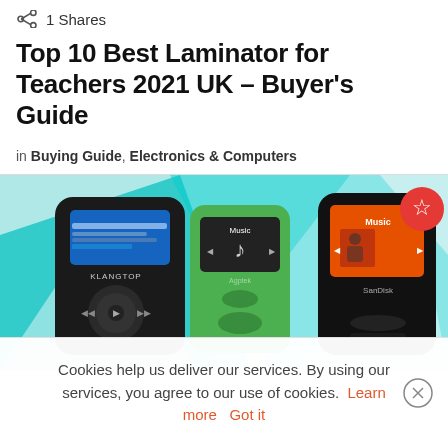1 Shares
Top 10 Best Laminator for Teachers 2021 UK – Buyer's Guide
in Buying Guide, Electronics & Computers
[Figure (photo): Three MP3 players displayed on a teal/white geometric background: a black KLANGTOP player on the left, a green Agptek player in the center, and a black SanDisk player on the right with a red star badge showing 'Music' screen.]
Cookies help us deliver our services. By using our services, you agree to our use of cookies. Learn more   Got it